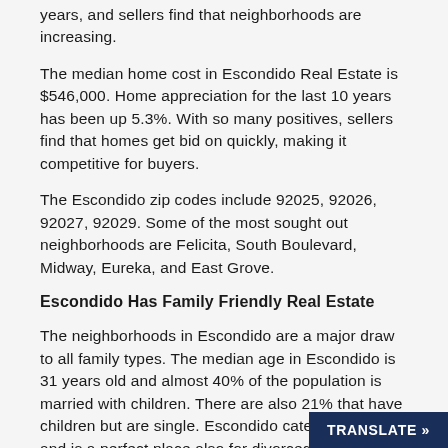years, and sellers find that neighborhoods are increasing.
The median home cost in Escondido Real Estate is $546,000. Home appreciation for the last 10 years has been up 5.3%. With so many positives, sellers find that homes get bid on quickly, making it competitive for buyers.
The Escondido zip codes include 92025, 92026, 92027, 92029. Some of the most sought out neighborhoods are Felicita, South Boulevard, Midway, Eureka, and East Grove.
Escondido Has Family Friendly Real Estate
The neighborhoods in Escondido are a major draw to all family types. The median age in Escondido is 31 years old and almost 40% of the population is married with children. There are also 21% that have children but are single. Escondido caters to families and is a perfect place also for divorced parents to find home options near one another.
The number of kids in Escondido makes up 25% of the population. The schools are part of the Escondido Union School District. Besides public schools, there are charter and Montessori options to accommodate all learning options.